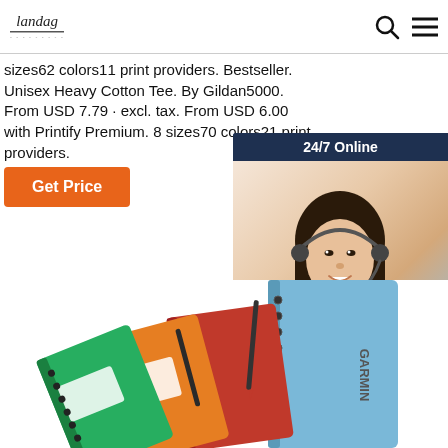Landag
sizes62 colors11 print providers. Bestseller. Unisex Heavy Cotton Tee. By Gildan5000. From USD 7.79 · excl. tax. From USD 6.00 with Printify Premium. 8 sizes70 colors21 print providers.
[Figure (other): Orange 'Get Price' button]
[Figure (other): 24/7 online chat widget with photo of female customer service representative wearing headset, dark navy background, 'Click here for free chat!' text and orange QUOTATION button]
[Figure (photo): Colorful spiral-bound notebooks in green, orange, red colors with label holders and pens, plus a blue Garmin-branded notebook]